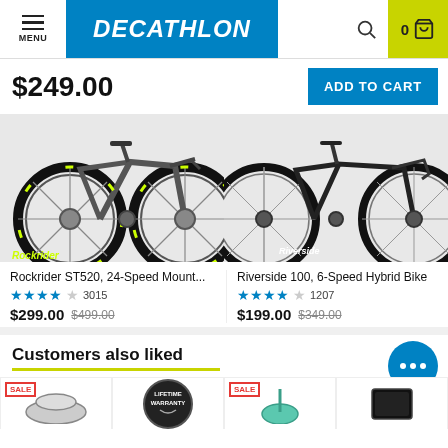MENU | DECATHLON | 0
$249.00
ADD TO CART
[Figure (photo): Two mountain bikes side by side — left: Rockrider ST520 with yellow-green accents, right: Riverside 100 black hybrid bike]
Rockrider ST520, 24-Speed Mount... ★★★★☆ 3015 $299.00 $499.00
Riverside 100, 6-Speed Hybrid Bike ★★★★☆ 1207 $199.00 $349.00
Ro... ★ $6...
Customers also liked
[Figure (photo): Bottom row of product thumbnails with SALE badges]